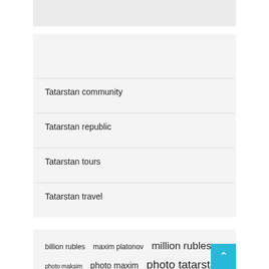Categories
Tatarstan community
Tatarstan republic
Tatarstan tours
Tatarstan travel
billion rubles  maxim platonov  million rubles  photo maksim  photo maxim  photo tatarstan